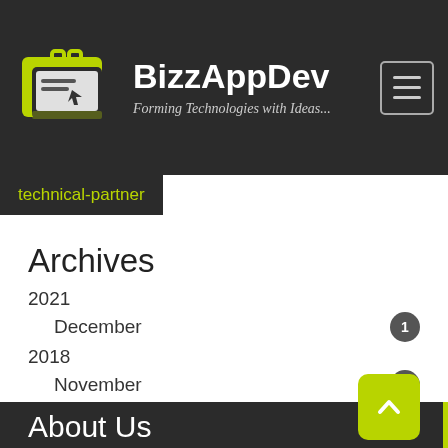BizzAppDev — Forming Technologies with Ideas...
technical-partner
Archives
2021
December  1
2018
November  5
April  1
March  1
About Us